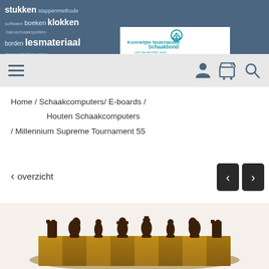[Figure (screenshot): Website header with 'webwinkel' text on dark blue background, word cloud with chess-related Dutch words (stukken, borden, lesmateriaal, klokken, etc.) on left dark blue panel, Koninklijke Nederlandse Schaakbond logo and tagline on white center, and dark blue block on right]
[Figure (screenshot): Navigation bar with hamburger menu icon on left and user/cart/search icons on right on light grey background]
Home / Schaakcomputers/ E-boards /
Houten Schaakcomputers
/ Millennium Supreme Tournament 55
< overzicht
[Figure (photo): Photo of wooden chess board with dark chess pieces (Staunton style) arranged in starting position, shot from slight angle]